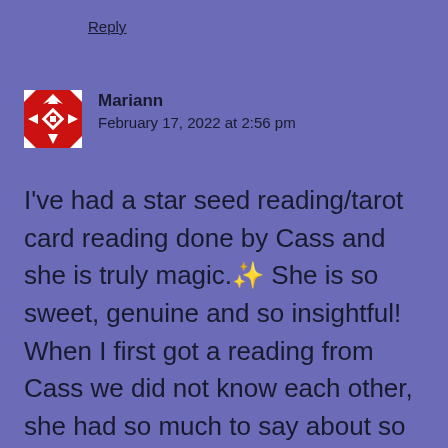Reply
[Figure (illustration): Red and white geometric/quilt-pattern avatar icon for user Mariann]
Mariann
February 17, 2022 at 2:56 pm
I've had a star seed reading/tarot card reading done by Cass and she is truly magic.✨ She is so sweet, genuine and so insightful! When I first got a reading from Cass we did not know each other, she had so much to say about so many things I was struggling with and it brought a lot of clarity to where I was at in my life. Her words have